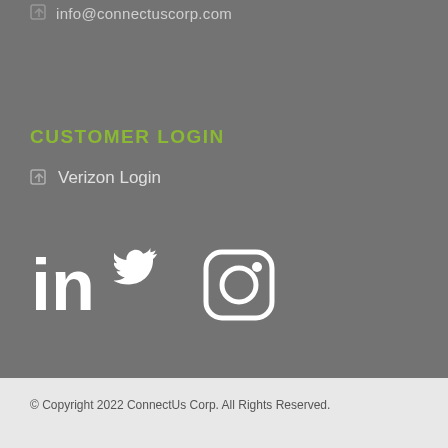info@connectuscorp.com
CUSTOMER LOGIN
Verizon Login
[Figure (illustration): Social media icons: LinkedIn, Twitter, Instagram in white on grey background]
© Copyright 2022 ConnectUs Corp. All Rights Reserved.